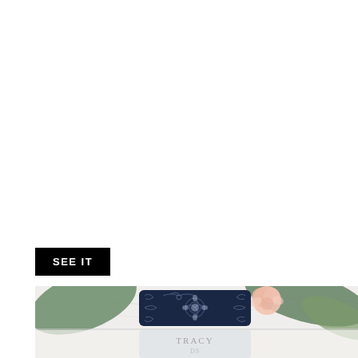SEE IT
[Figure (photo): A styled flat lay photograph showing a dark navy blue ornate laser-cut card with floral/scroll patterns, a pink rose, and large green leaves on a white marble surface. Below that a reflection or second card showing text 'TRACY' and 'DS' is partially visible.]